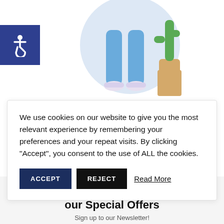[Figure (illustration): Illustration of a person's legs in blue trousers and white shoes, standing next to a potted green plant on a wooden stand, with a light blue circular background. An accessibility (wheelchair) icon badge is shown in the top-left.]
We use cookies on our website to give you the most relevant experience by remembering your preferences and your repeat visits. By clicking “Accept”, you consent to the use of ALL the cookies.
ACCEPT   REJECT   Read More
Get Updates & Find out about our Special Offers
Sign up to our Newsletter!